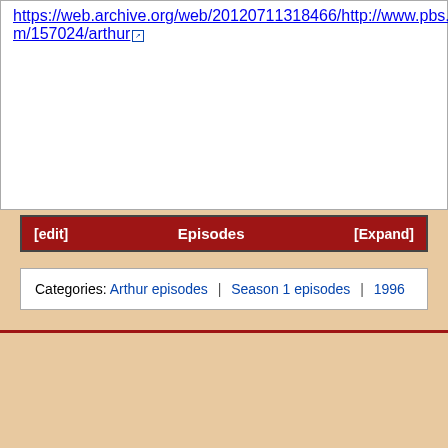https://web.archive.org/web/20120711318466/http://www.pbs.org/program/157024/arthur
[edit]  Episodes  [Expand]
Categories:  Arthur episodes | Season 1 episodes | 1996